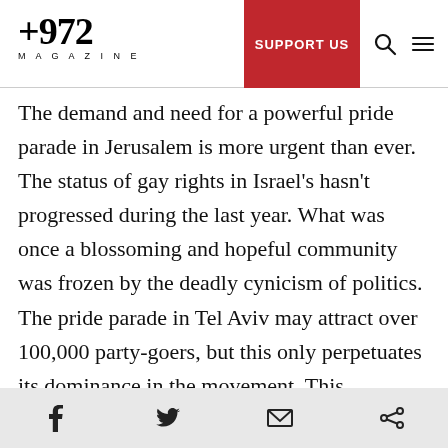+972 MAGAZINE — SUPPORT US
The demand and need for a powerful pride parade in Jerusalem is more urgent than ever. The status of gay rights in Israel's hasn't progressed during the last year. What was once a blossoming and hopeful community was frozen by the deadly cynicism of politics. The pride parade in Tel Aviv may attract over 100,000 party-goers, but this only perpetuates its dominance in the movement. This presentation of Tel Aviv as the only enlightened city in Israel causes gays to leave their home cities in great numbers. This process of reverse gentrification is significant in
Social share icons: Facebook, Twitter, Email, Share